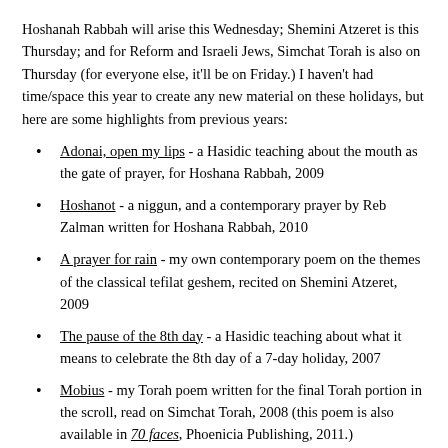Hoshanah Rabbah will arise this Wednesday; Shemini Atzeret is this Thursday; and for Reform and Israeli Jews, Simchat Torah is also on Thursday (for everyone else, it'll be on Friday.) I haven't had time/space this year to create any new material on these holidays, but here are some highlights from previous years:
Adonai, open my lips - a Hasidic teaching about the mouth as the gate of prayer, for Hoshana Rabbah, 2009
Hoshanot - a niggun, and a contemporary prayer by Reb Zalman written for Hoshana Rabbah, 2010
A prayer for rain - my own contemporary poem on the themes of the classical tefilat geshem, recited on Shemini Atzeret, 2009
The pause of the 8th day - a Hasidic teaching about what it means to celebrate the 8th day of a 7-day holiday, 2007
Mobius - my Torah poem written for the final Torah portion in the scroll, read on Simchat Torah, 2008 (this poem is also available in 70 faces, Phoenicia Publishing, 2011.)
For more along these lines, you can visit the Hoshanah Rabbah